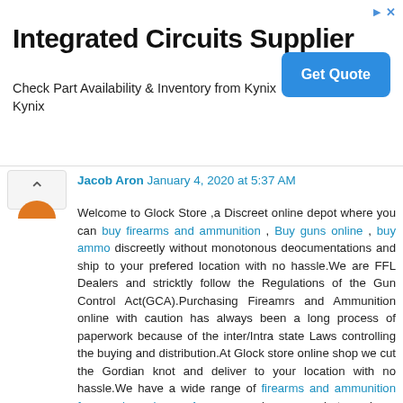[Figure (screenshot): Advertisement banner for Integrated Circuits Supplier. Title: 'Integrated Circuits Supplier'. Body: 'Check Part Availability & Inventory from Kynix Kynix'. Button: 'Get Quote' in blue. Small arrow and X icons in top right.]
Jacob Aron January 4, 2020 at 5:37 AM
Welcome to Glock Store ,a Discreet online depot where you can buy firearms and ammunition , Buy guns online , buy ammo discreetly without monotonous deocumentations and ship to your prefered location with no hassle.We are FFL Dealers and stricktly follow the Regulations of the Gun Control Act(GCA).Purchasing Fireamrs and Ammunition online with caution has always been a long process of paperwork because of the inter/Intra state Laws controlling the buying and distribution.At Glock store online shop we cut the Gordian knot and deliver to your location with no hassle.We have a wide range of firearms and ammunition for sale ,buy Ammo such as shotguns,Long guns,Magazines, Optics and accesories which include Century Arms,Kel-Tec,
Ruger,
AR15